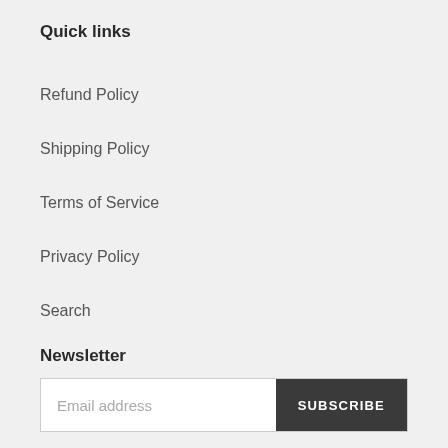Quick links
Refund Policy
Shipping Policy
Terms of Service
Privacy Policy
Search
Newsletter
Email address  SUBSCRIBE